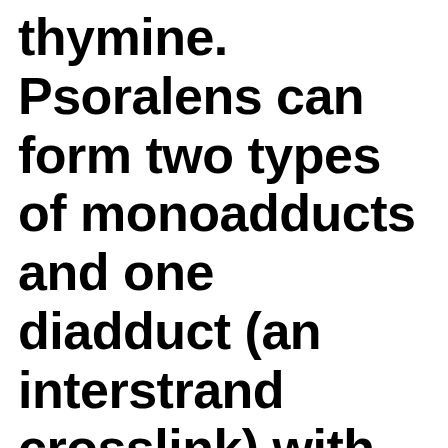thymine. Psoralens can form two types of monoadducts and one diadduct (an interstrand crosslink) with thymine. These adducts result in local distortions to